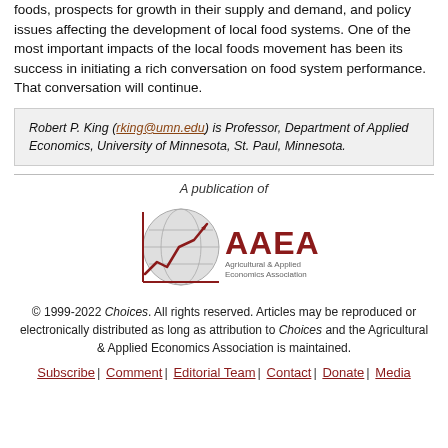foods, prospects for growth in their supply and demand, and policy issues affecting the development of local food systems. One of the most important impacts of the local foods movement has been its success in initiating a rich conversation on food system performance. That conversation will continue.
Robert P. King (rking@umn.edu) is Professor, Department of Applied Economics, University of Minnesota, St. Paul, Minnesota.
A publication of
[Figure (logo): AAEA Agricultural & Applied Economics Association logo with globe and line-chart icon]
© 1999-2022 Choices. All rights reserved. Articles may be reproduced or electronically distributed as long as attribution to Choices and the Agricultural & Applied Economics Association is maintained.
Subscribe | Comment | Editorial Team | Contact | Donate | Media